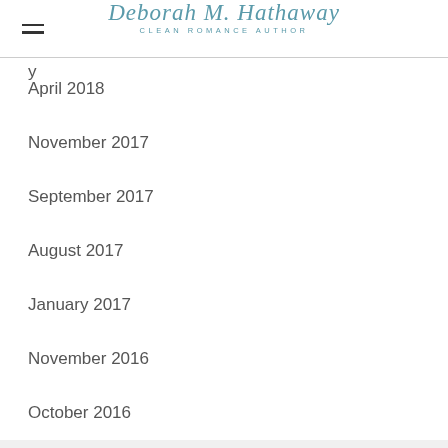Deborah M. Hathaway CLEAN ROMANCE AUTHOR
April 2018
November 2017
September 2017
August 2017
January 2017
November 2016
October 2016